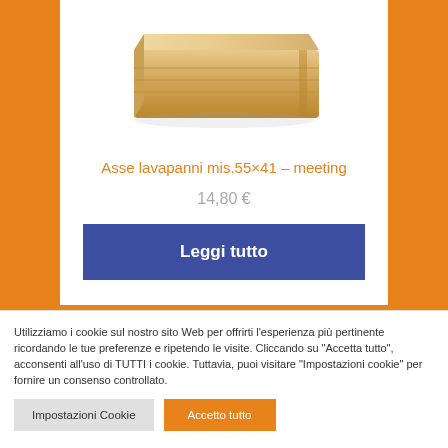[Figure (photo): Wooden ironing board / laundry board product image, showing wood grain and grooves, light tan color]
Asse lavapanni mis.55×41 – meeting
14,80 €
Leggi tutto
Utilizziamo i cookie sul nostro sito Web per offrirti l'esperienza più pertinente ricordando le tue preferenze e ripetendo le visite. Cliccando su "Accetta tutto", acconsenti all'uso di TUTTI i cookie. Tuttavia, puoi visitare "Impostazioni cookie" per fornire un consenso controllato.
Impostazioni Cookie
Accetto tutto